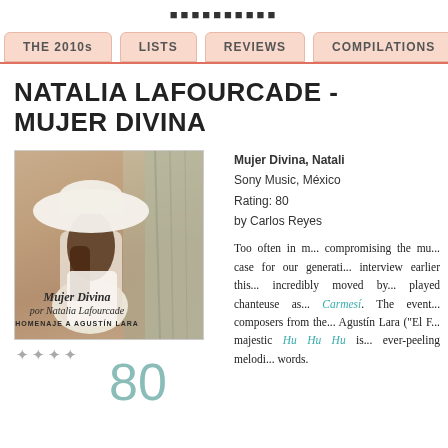musicofmex
THE 2010s  LISTS  REVIEWS  COMPILATIONS  IN...
NATALIA LAFOURCADE - MUJER DIVINA
[Figure (photo): Album cover of Mujer Divina por Natalia Lafourcade, Homenaje a Agustín Lara, showing a woman in a wide-brimmed white hat with long dark hair, standing near a tree, with the album title text overlay]
★★★★
80
Mujer Divina, Natalia Lafourcade
Sony Music, México
Rating: 80
by Carlos Reyes
Too often in m... compromising the mu... case for our generati... interview earlier this... incredibly moved by... played chanteuse as... Carmesí. The event... composers from the... Agustín Lara ("El F... majestic Hu Hu Hu is... ever-peeling melodi... words.